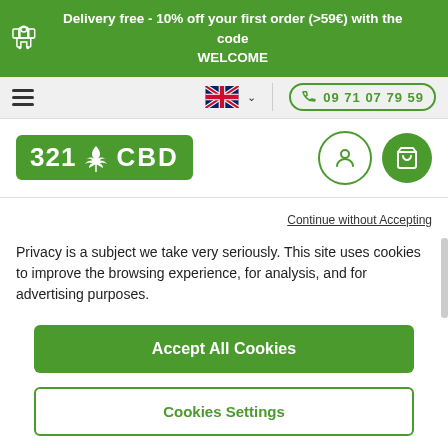Delivery free - 10% off your first order (>59€) with the code WELCOME
[Figure (screenshot): Navigation bar with hamburger menu, UK flag language selector, and phone number 09 71 07 79 59 in green pill]
[Figure (logo): 321 CBD logo with cannabis leaf icon in green box, plus user and cart icons]
Continue without Accepting
Privacy is a subject we take very seriously. This site uses cookies to improve the browsing experience, for analysis, and for advertising purposes.
Accept All Cookies
Cookies Settings